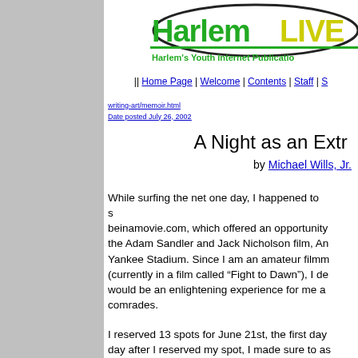[Figure (logo): HarlemLIVE logo with green 'Harlem' text and yellow 'LIVE' text inside an oval ellipse, with tagline Harlem's Youth Internet Publication]
|| Home Page | Welcome | Contents | Staff | S
writing-art/memoir.html
Date posted July 26, 2002
A Night as an Extra
by Michael Wills, Jr.
While surfing the net one day, I happened to stumble upon beinamovie.com, which offered an opportunity to be an extra in the Adam Sandler and Jack Nicholson film, Anger Management, at Yankee Stadium. Since I am an amateur filmmaker (currently in a film called “Fight to Dawn”), I decided this would be an enlightening experience for me and my comrades.
I reserved 13 spots for June 21st, the first day of filming. The day after I reserved my spot, I made sure to ask some friends (people) in “Fight to Dawn” if they were down for the experience. I got a lot of replies like, “Hey Mike that’s sounds cool…”